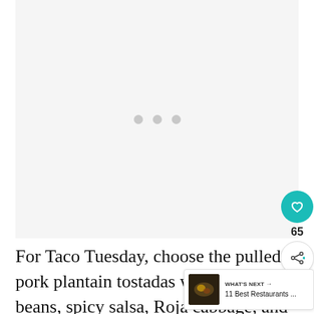[Figure (photo): Light gray image placeholder area with three gray dots centered, indicating an image loading state]
For Taco Tuesday, choose the pulled pork plantain tostadas with pinto beans, spicy salsa, Roja cabbage, and queso.